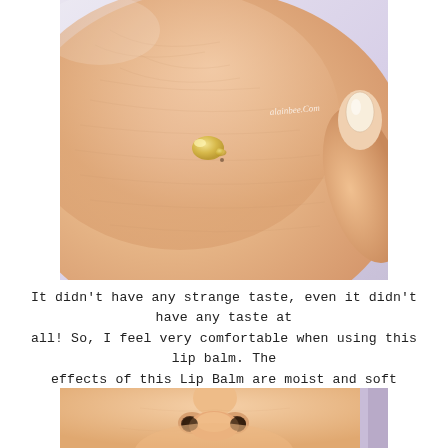[Figure (photo): Close-up macro photo of skin (back of hand/wrist area) with a small drop of yellowish lip balm product on the skin surface. A finger is partially visible on the right side. Watermark text 'alainbee.com' visible in the upper right area of the photo.]
It didn't have any strange taste, even it didn't have any taste at all! So, I feel very comfortable when using this lip balm. The effects of this Lip Balm are moist and soft lips~
[Figure (photo): Close-up photo of a person's nose and lower face area, showing the nose from slightly below.]